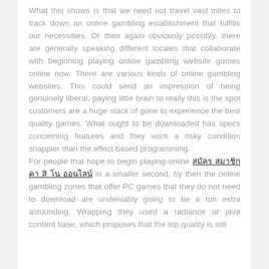What this shows is that we need not travel vast miles to track down an online gambling establishment that fulfills our necessities. Or then again obviously possibly, there are generally speaking different locales that collaborate with beginning playing online gambling website games online now. There are various kinds of online gambling websites. This could send an impression of being genuinely liberal, paying little brain to really this is the spot customers are a huge stack of gone to experience the best quality games. What ought to be downloaded has specs concerning features and they work a risky condition snappier than the effect based programming.
For people that hope to begin playing online [link text in Thai/Asian script] in a smaller second, by then the online gambling zones that offer PC games that they do not need to download are undeniably going to be a ton extra astounding. Wrapping they used a radiance or java content base, which proposes that the top quality is still